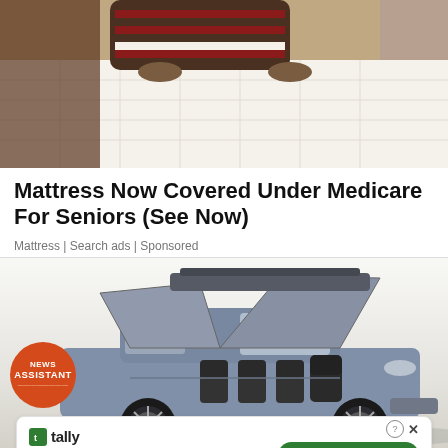[Figure (photo): Photo of a person leaning on a white mattress on a bed, wearing striped clothing]
Mattress Now Covered Under Medicare For Seniors (See Now)
Mattress | Search ads | Sponsored
[Figure (photo): Photo of a luxury SUV (Lincoln Navigator concept) with gull-wing doors open, showing interior seats. News Assistant orange circular badge in lower left. 'Advertisement' label overlaid at bottom center.]
Fast credit card payoff
Download Now →